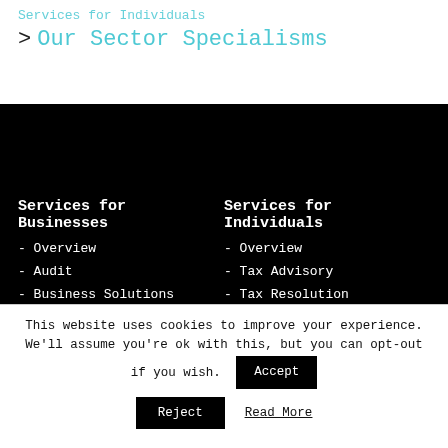Services for Individuals
> Our Sector Specialisms
Services for Businesses
- Overview
- Audit
- Business Solutions
- CFO Services
Services for Individuals
- Overview
- Tax Advisory
- Tax Resolution
- Trusts & Estate Planning
This website uses cookies to improve your experience. We'll assume you're ok with this, but you can opt-out if you wish. Accept
Reject
Read More